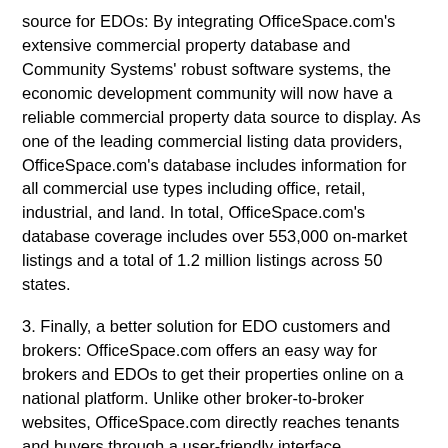source for EDOs: By integrating OfficeSpace.com's extensive commercial property database and Community Systems' robust software systems, the economic development community will now have a reliable commercial property data source to display. As one of the leading commercial listing data providers, OfficeSpace.com's database includes information for all commercial use types including office, retail, industrial, and land. In total, OfficeSpace.com's database coverage includes over 553,000 on-market listings and a total of 1.2 million listings across 50 states.
3. Finally, a better solution for EDO customers and brokers: OfficeSpace.com offers an easy way for brokers and EDOs to get their properties online on a national platform. Unlike other broker-to-broker websites, OfficeSpace.com directly reaches tenants and buyers through a user-friendly interface.